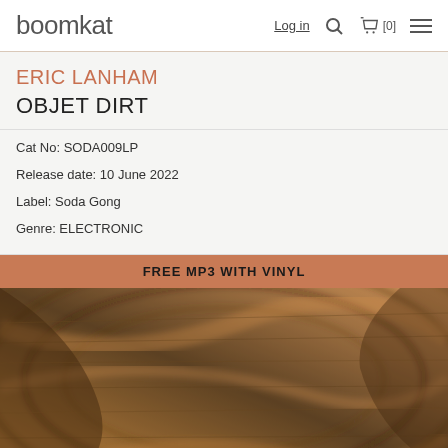boomkat  Log in  [0]
ERIC LANHAM
OBJET DIRT
Cat No: SODA009LP
Release date: 10 June 2022
Label: Soda Gong
Genre: ELECTRONIC
FREE MP3 WITH VINYL
[Figure (photo): Blurred abstract photo of a vinyl record with warm orange and brown tones, showing grooves and reflective surface]